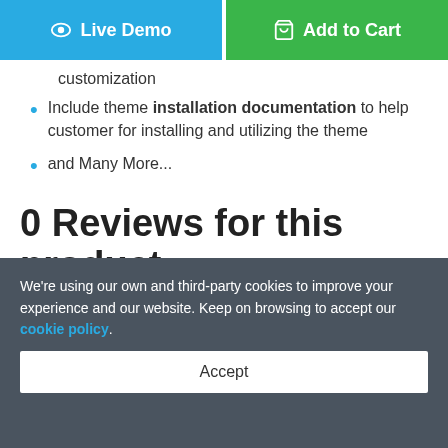[Figure (other): Two action buttons side by side: blue 'Live Demo' button with eye icon on the left, green 'Add to Cart' button with cart icon on the right]
customization
Include theme installation documentation to help customer for installing and utilizing the theme
and Many More...
0 Reviews for this product
We're using our own and third-party cookies to improve your experience and our website. Keep on browsing to accept our cookie policy.
Accept